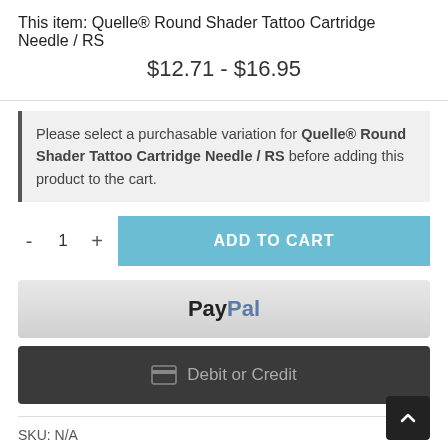This item: Quelle® Round Shader Tattoo Cartridge Needle / RS
$12.71 - $16.95
Please select a purchasable variation for Quelle® Round Shader Tattoo Cartridge Needle / RS before adding this product to the cart.
- 1 + ADD TO CART
[Figure (screenshot): PayPal payment button]
[Figure (screenshot): Debit or Credit card payment button]
SKU: N/A
Categories: Quelle Premium Cartridges, Tattoo Needle